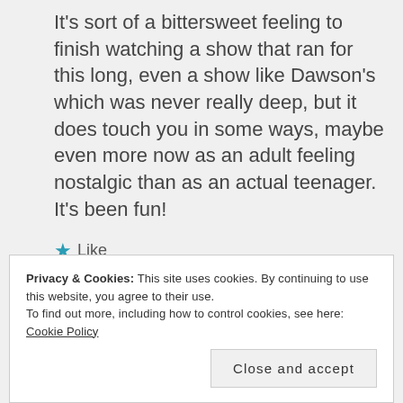It's sort of a bittersweet feeling to finish watching a show that ran for this long, even a show like Dawson's which was never really deep, but it does touch you in some ways, maybe even more now as an adult feeling nostalgic than as an actual teenager. It's been fun!
★ Like
Reply
Privacy & Cookies: This site uses cookies. By continuing to use this website, you agree to their use. To find out more, including how to control cookies, see here: Cookie Policy
Close and accept